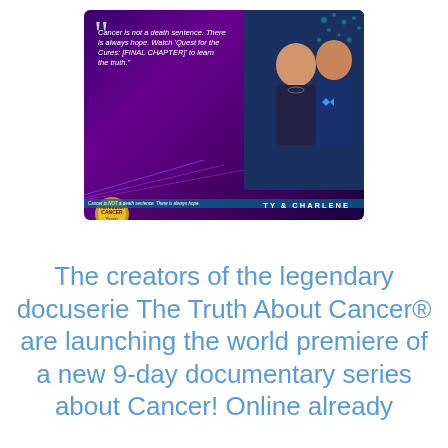[Figure (illustration): Promotional banner for 'Quest for the Cures: Final Chapter' documentary by The Truth About Cancer, featuring Ty & Charlene, a quote reading 'Cancer is not a death sentence. There is always hope. Watch Quest for the Cures: [FINAL CHAPTER] to learn the truth.', with purple/dark background and laser effects.]
The creators of the legendary docuserie The Truth About Cancer® are launching the world premiere of a new 9-day documentary series about Cancer! Online already